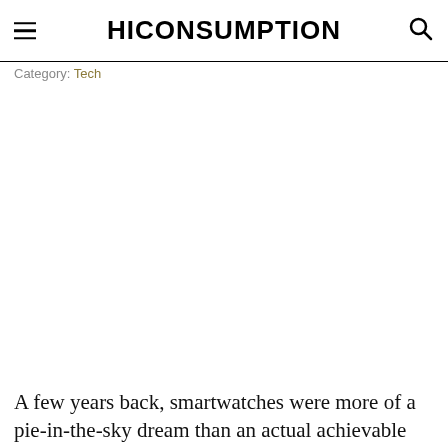HICONSUMPTION
Category: Tech
[Figure (photo): Large article hero image (white/blank area)]
A few years back, smartwatches were more of a pie-in-the-sky dream than an actual achievable